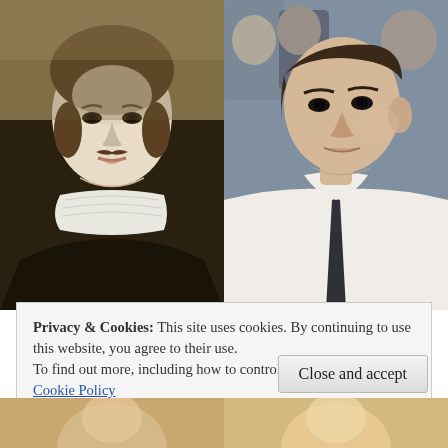[Figure (photo): Side-by-side comparison: left side shows a classical oil painting portrait of a young man with pale complexion, mustache, ruffled collar and dark clothing (resembling Philip IV of Spain by Velázquez); right side shows a modern photograph of a young man in a white dress shirt and dark tie, facing slightly to the side (resembling Mark Zuckerberg).]
Privacy & Cookies: This site uses cookies. By continuing to use this website, you agree to their use.
To find out more, including how to control cookies, see here:
Cookie Policy
[Figure (photo): Partially visible bottom strip showing the tops of two more portrait/face images, cropped at the bottom edge of the page.]